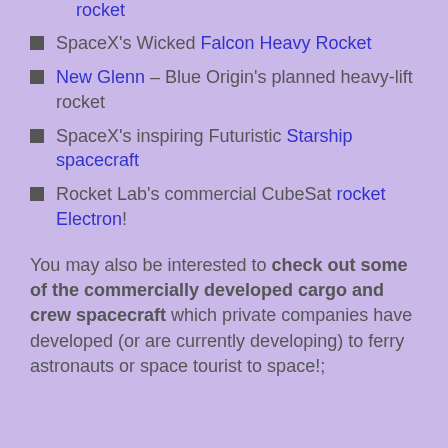rocket (link)
SpaceX's Wicked Falcon Heavy Rocket (link)
New Glenn (link) – Blue Origin's planned heavy-lift rocket
SpaceX's inspiring Futuristic Starship spacecraft (link)
Rocket Lab's commercial CubeSat rocket Electron! (link)
You may also be interested to check out some of the commercially developed cargo and crew spacecraft which private companies have developed (or are currently developing) to ferry astronauts or space tourist to space!;